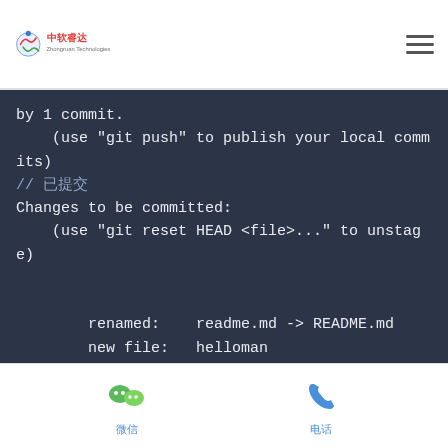中软睿达 [logo] [hamburger menu]
by 1 commit.
    (use "git push" to publish your local commits)
// 已提交
Changes to be committed:
    (use "git reset HEAD <file>..." to unstage)


        renamed:    readme.md -> README.md
        new file:   helloman
微信  电话